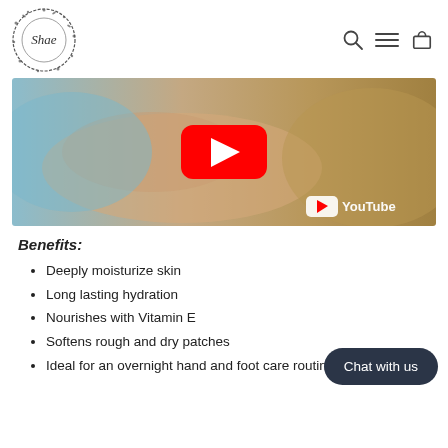[Figure (logo): Shae brand logo — circular floral wreath with cursive 'Shae' text in the center]
[Figure (screenshot): YouTube video thumbnail showing elderly hands with a ring, with a red YouTube play button in the center and YouTube logo in the bottom right corner]
Benefits:
Deeply moisturize skin
Long lasting hydration
Nourishes with Vitamin E
Softens rough and dry patches
Ideal for an overnight hand and foot care routine